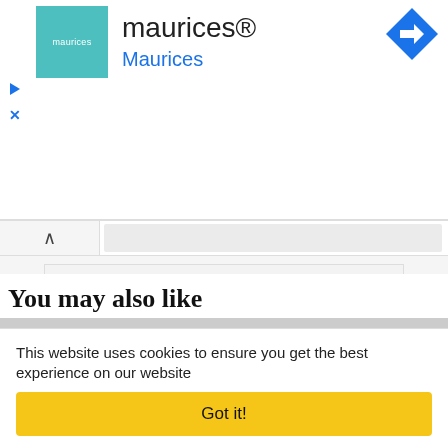[Figure (screenshot): Maurices brand ad with teal logo box showing 'maurices' text, brand name 'maurices®' in large text, blue navigation arrow icon top right, play and close controls on left, blue 'Maurices' subtitle link]
[Figure (screenshot): Collapse/minimize bar with chevron up button and gray bar]
[Figure (screenshot): Preview placeholder box with gray 'Preview' label text]
You may also like
This website uses cookies to ensure you get the best experience on our website
Got it!